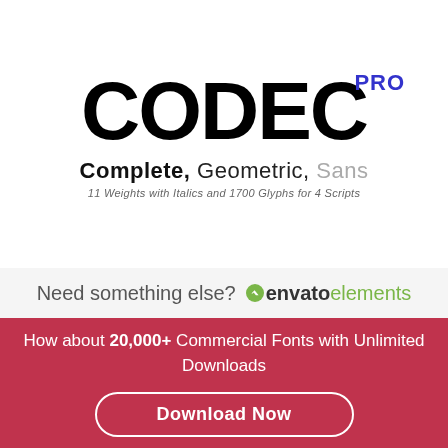CODEC PRO
Complete, Geometric, Sans
11 Weights with Italics and 1700 Glyphs for 4 Scripts
Need something else? envato elements
How about 20,000+ Commercial Fonts with Unlimited Downloads
Download Now